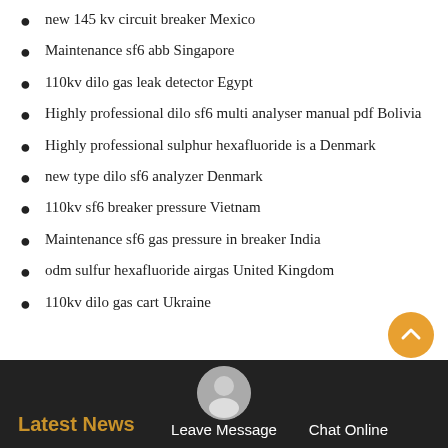new 145 kv circuit breaker Mexico
Maintenance sf6 abb Singapore
110kv dilo gas leak detector Egypt
Highly professional dilo sf6 multi analyser manual pdf Bolivia
Highly professional sulphur hexafluoride is a Denmark
new type dilo sf6 analyzer Denmark
110kv sf6 breaker pressure Vietnam
Maintenance sf6 gas pressure in breaker India
odm sulfur hexafluoride airgas United Kingdom
110kv dilo gas cart Ukraine
Latest News   Leave Message   Chat Online